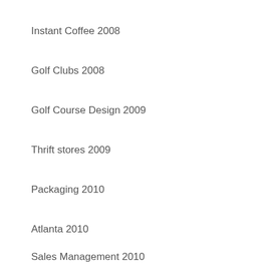Instant Coffee 2008
Golf Clubs 2008
Golf Course Design 2009
Thrift stores 2009
Packaging 2010
Atlanta 2010
Sales Management 2010